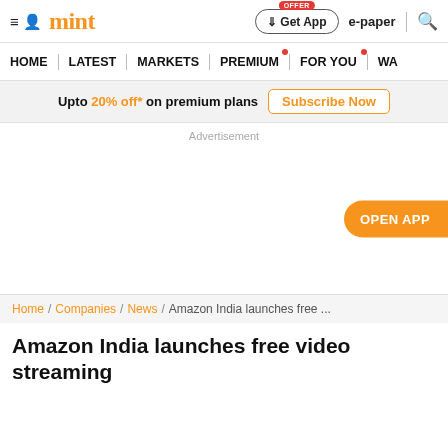mint | Get App | e-paper
HOME | LATEST | MARKETS | PREMIUM | FOR YOU | WA
Upto 20% off* on premium plans  Subscribe Now
Advertisement
OPEN APP
Home / Companies / News / Amazon India launches free ...
Amazon India launches free video streaming